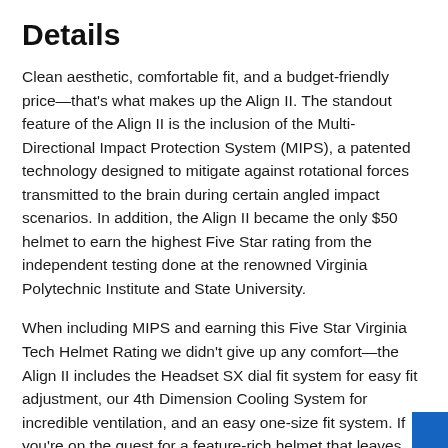Details
Clean aesthetic, comfortable fit, and a budget-friendly price—that's what makes up the Align II. The standout feature of the Align II is the inclusion of the Multi-Directional Impact Protection System (MIPS), a patented technology designed to mitigate against rotational forces transmitted to the brain during certain angled impact scenarios. In addition, the Align II became the only $50 helmet to earn the highest Five Star rating from the independent testing done at the renowned Virginia Polytechnic Institute and State University.
When including MIPS and earning this Five Star Virginia Tech Helmet Rating we didn't give up any comfort—the Align II includes the Headset SX dial fit system for easy fit adjustment, our 4th Dimension Cooling System for incredible ventilation, and an easy one-size fit system. If you're on the quest for a feature-rich helmet that leaves some jingle jangle in your pocket, the Align II is for you.